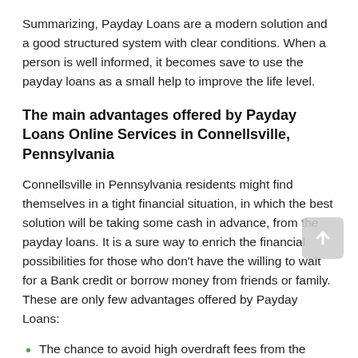Summarizing, Payday Loans are a modern solution and a good structured system with clear conditions. When a person is well informed, it becomes save to use the payday loans as a small help to improve the life level.
The main advantages offered by Payday Loans Online Services in Connellsville, Pennsylvania
Connellsville in Pennsylvania residents might find themselves in a tight financial situation, in which the best solution will be taking some cash in advance, from the payday loans. It is a sure way to enrich the financial possibilities for those who don't have the willing to wait for a Bank credit or borrow money from friends or family. These are only few advantages offered by Payday Loans:
The chance to avoid high overdraft fees from the bank account;
The possibility of receiving the necessary money